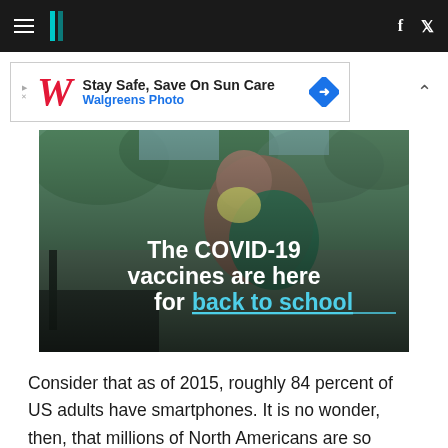HuffPost navigation with hamburger menu, logo, Facebook and Twitter icons
[Figure (infographic): Walgreens advertisement banner: Stay Safe, Save On Sun Care — Walgreens Photo]
[Figure (photo): A smiling woman holding a laughing toddler outdoors in a park setting. Overlaid white and cyan text reads: The COVID-19 vaccines are here for back to school]
Consider that as of 2015, roughly 84 percent of US adults have smartphones. It is no wonder, then, that millions of North Americans are so